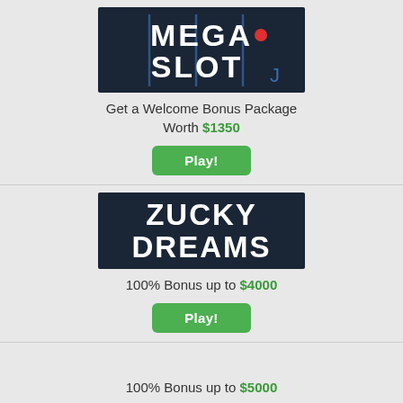[Figure (logo): Mega Slot casino logo with dark navy background, white bold text MEGA SLOT with blue vertical pipes, red dot and blue bracket accent]
Get a Welcome Bonus Package Worth $1350
Play!
[Figure (logo): Zucky Dreams casino logo with dark navy background, white bold uppercase text ZUCKY DREAMS]
100% Bonus up to $4000
Play!
100% Bonus up to $5000